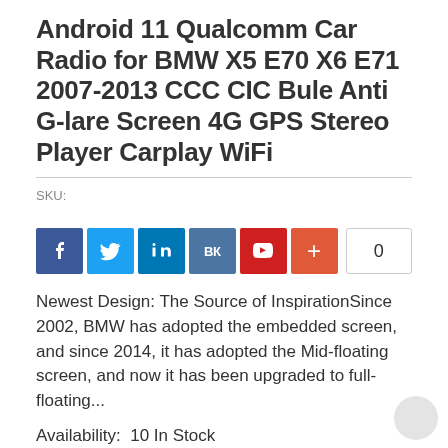Android 11 Qualcomm Car Radio for BMW X5 E70 X6 E71 2007-2013 CCC CIC Bule Anti G-lare Screen 4G GPS Stereo Player Carplay WiFi
SKU:
[Figure (infographic): Social media share buttons: Facebook (blue), Twitter (light blue), LinkedIn (dark blue), VK (steel blue), YouTube (red), Share/Plus (orange-red), and a share count box showing 0]
Newest Design: The Source of InspirationSince 2002, BMW has adopted the embedded screen, and since 2014, it has adopted the Mid-floating screen, and now it has been upgraded to full-floating...
Availability:  10 In Stock